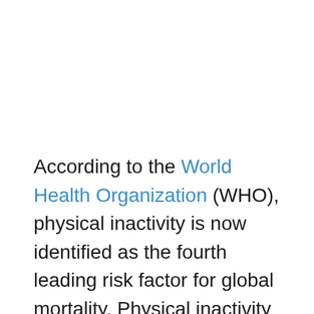According to the World Health Organization (WHO), physical inactivity is now identified as the fourth leading risk factor for global mortality. Physical inactivity levels are rising in many countries with major implications for the prevalence of noncommunicable diseases (NCDs) and the overall health of the